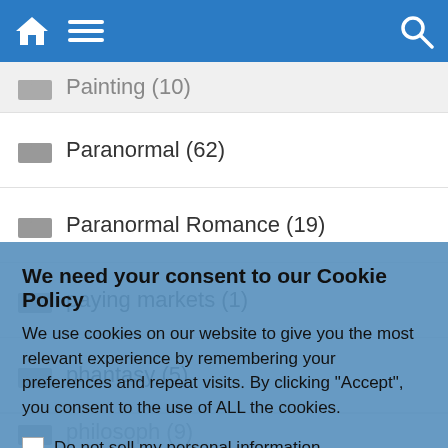Navigation bar with home, menu, and search icons
Painting (10)
Paranormal (62)
Paranormal Romance (19)
paying markets (1)
phantasy (5)
philosoph (9)
We need your consent to our Cookie Policy
We use cookies on our website to give you the most relevant experience by remembering your preferences and repeat visits. By clicking “Accept”, you consent to the use of ALL the cookies.
Do not sell my personal information.
Cookie Settings | Accept